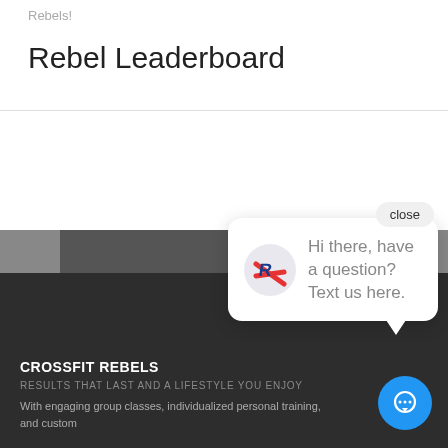Rebels!
Rebel Leaderboard
[Figure (screenshot): Chat popup overlay with close button, CrossFit Rebels logo icon, and text 'Hi there, have a question? Text us here.' with navigation arrows and a blue chat button]
CROSSFIT REBELS
RESULTS THAT LAST AND A LIFESTYLE YOU ENJOY
With engaging group classes, individualized personal training, and custom